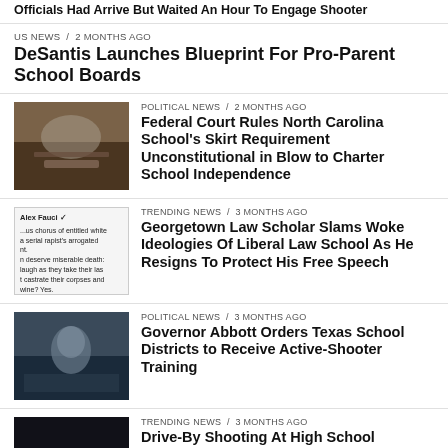Officials Had Arrive But Waited An Hour To Engage Shooter
US NEWS / 2 months ago
DeSantis Launches Blueprint For Pro-Parent School Boards
POLITICAL NEWS / 2 months ago
Federal Court Rules North Carolina School’s Skirt Requirement Unconstitutional in Blow to Charter School Independence
TRENDING NEWS / 3 months ago
Georgetown Law Scholar Slams Woke Ideologies Of Liberal Law School As He Resigns To Protect His Free Speech
POLITICAL NEWS / 3 months ago
Governor Abbott Orders Texas School Districts to Receive Active-Shooter Training
TRENDING NEWS / 3 months ago
Drive-By Shooting At High School Graduation Party Leaves One Dead and Seven Wounded